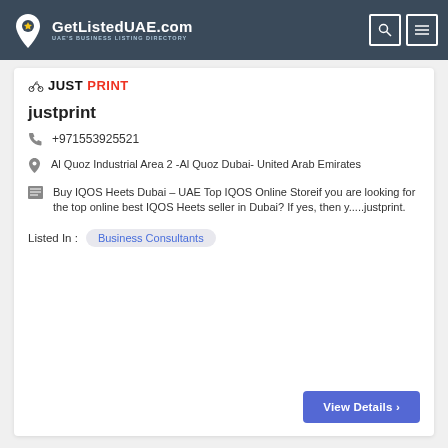GetListedUAE.com — UAE's BUSINESS LISTING DIRECTORY
[Figure (logo): JustPrint logo with motorcycle icon and text JUST PRINT]
justprint
+971553925521
Al Quoz Industrial Area 2 -Al Quoz Dubai- United Arab Emirates
Buy IQOS Heets Dubai – UAE Top IQOS Online Storeif you are looking for the top online best IQOS Heets seller in Dubai? If yes, then y.....justprint.
Listed In :  Business Consultants
View Details ›